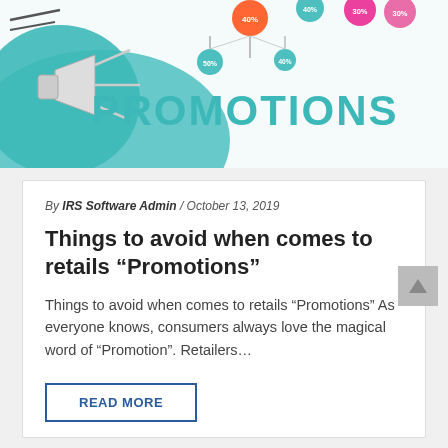[Figure (illustration): Promotional banner with teal/mint background, colorful percentage bubbles (orange, green, pink, teal labeled with discount percentages like 40%, 30%, etc.), a megaphone/speaker shape on the left, and large teal text 'PROMOTIONS' on the right.]
By IRS Software Admin / October 13, 2019
Things to avoid when comes to retails “Promotions”
Things to avoid when comes to retails “Promotions” As everyone knows, consumers always love the magical word of “Promotion”. Retailers…
READ MORE